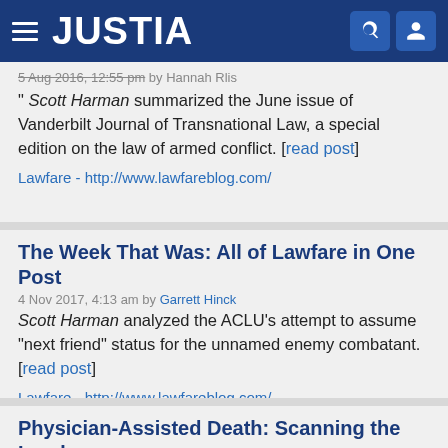[Figure (screenshot): Justia website navigation bar with hamburger menu, JUSTIA logo in white on dark blue background, search and user icons on right]
5 Aug 2016, 12:55 pm by Hannah Rlis
" Scott Harman summarized the June issue of Vanderbilt Journal of Transnational Law, a special edition on the law of armed conflict. [read post]
Lawfare - http://www.lawfareblog.com/
The Week That Was: All of Lawfare in One Post
4 Nov 2017, 4:13 am by Garrett Hinck
Scott Harman analyzed the ACLU’s attempt to assume “next friend” status for the unnamed enemy combatant. [read post]
Lawfare - http://www.lawfareblog.com/
Physician-Assisted Death: Scanning the Landscape